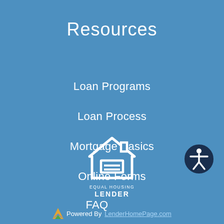Resources
Loan Programs
Loan Process
Mortgage Basics
Online Forms
FAQ
[Figure (logo): Accessibility icon button — circle with person figure outline on dark navy background]
[Figure (logo): Equal Housing Lender logo — white house outline with equals sign inside, text EQUAL HOUSING LENDER below]
Powered By LenderHomePage.com